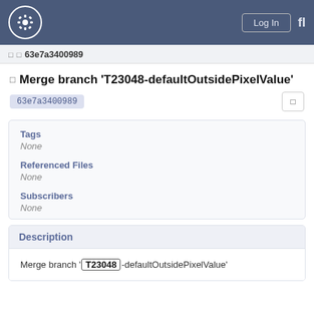Log In
63e7a3400989
Merge branch 'T23048-defaultOutsidePixelValue'
63e7a3400989
Tags
None
Referenced Files
None
Subscribers
None
Description
Merge branch 'T23048-defaultOutsidePixelValue'